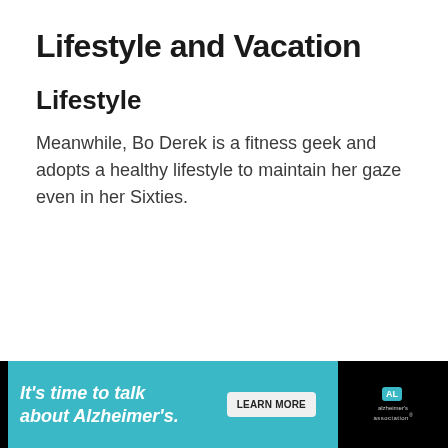Lifestyle and Vacation
Lifestyle
Meanwhile, Bo Derek is a fitness geek and adopts a healthy lifestyle to maintain her gaze even in her Sixties.
[Figure (other): Advertisement banner: teal background with text 'It's time to talk about Alzheimer's.' with a 'LEARN MORE' button and Alzheimer's Association logo on black background]